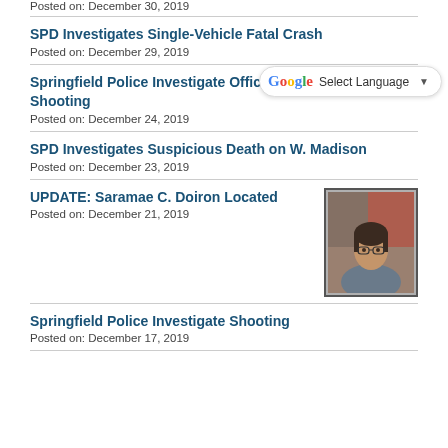Posted on: December 30, 2019
SPD Investigates Single-Vehicle Fatal Crash
Posted on: December 29, 2019
Springfield Police Investigate Officer-Involved Shooting
Posted on: December 24, 2019
SPD Investigates Suspicious Death on W. Madison
Posted on: December 23, 2019
UPDATE: Saramae C. Doiron Located
Posted on: December 21, 2019
[Figure (photo): Portrait photo of Saramae C. Doiron, a woman with glasses and short dark hair, wearing a gray shirt]
Springfield Police Investigate Shooting
Posted on: December 17, 2019